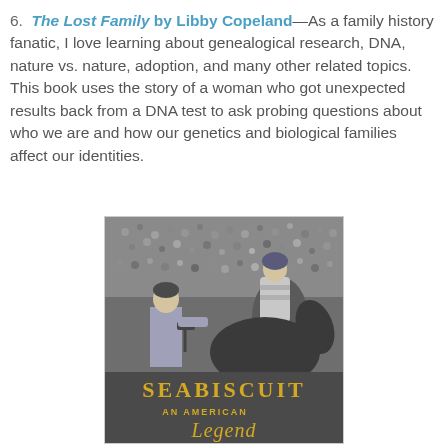6. The Lost Family by Libby Copeland—As a family history fanatic, I love learning about genealogical research, DNA, nature vs. nature, adoption, and many other related topics.  This book uses the story of a woman who got unexpected results back from a DNA test to ask probing questions about who we are and how our genetics and biological families affect our identities.
[Figure (photo): Book cover of 'Seabiscuit: An American Legend' — a black and white photograph showing a jockey on a horse with a man in a suit nearby in a crowd setting. The title 'SEABISCUIT' is in gold/yellow letters, with 'AN AMERICAN Legend' below in yellow cursive and serif text.]